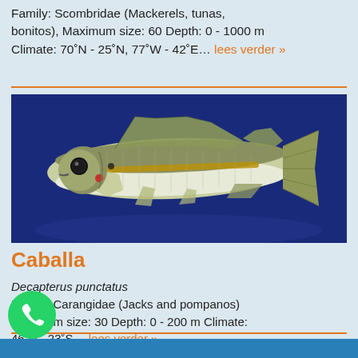Family: Scombridae (Mackerels, tunas, bonitos), Maximum size: 60 Depth: 0 - 1000 m Climate: 70°N - 25°N, 77°W - 42°E… lees verder »
[Figure (photo): Photograph of a Caballa fish (Decapterus punctatus) — a slender silvery-blue fish with a yellow lateral stripe, shown against a dark blue background]
Caballa
Decapterus punctatus
Family: Carangidae (Jacks and pompanos) Maximum size: 30 Depth: 0 - 200 m Climate: 46°N - 23°S… lees verder »
[Figure (logo): WhatsApp green chat button icon]